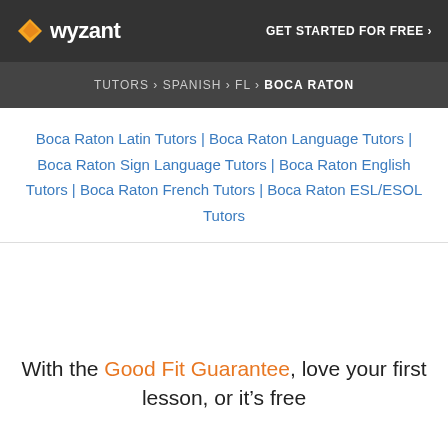wyzant — GET STARTED FOR FREE ›
TUTORS › SPANISH › FL › BOCA RATON
Boca Raton Latin Tutors | Boca Raton Language Tutors | Boca Raton Sign Language Tutors | Boca Raton English Tutors | Boca Raton French Tutors | Boca Raton ESL/ESOL Tutors
With the Good Fit Guarantee, love your first lesson, or it's free